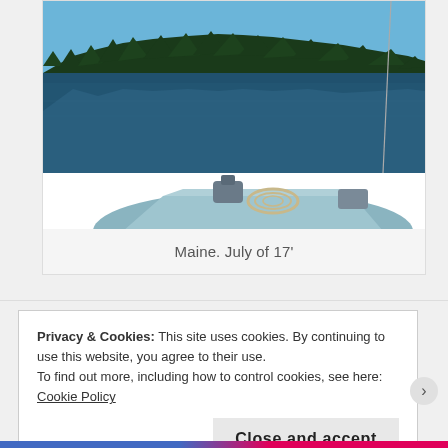[Figure (photo): A photo taken from a small aluminum boat on a calm lake in Maine. A fishing rod extends to the right. The lake reflects a treeline of tall conifers under a clear blue sky. The bow of the boat and coiled rope are visible in the foreground.]
Maine. July of 17'
Privacy & Cookies: This site uses cookies. By continuing to use this website, you agree to their use.
To find out more, including how to control cookies, see here: Cookie Policy
Close and accept